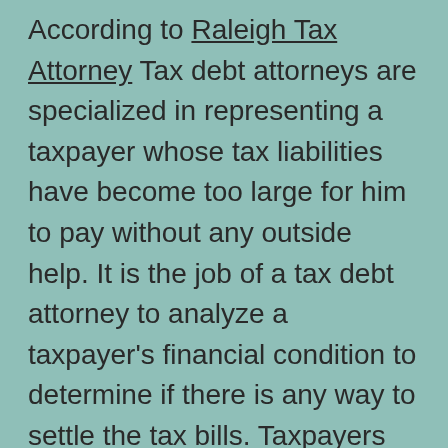According to Raleigh Tax Attorney Tax debt attorneys are specialized in representing a taxpayer whose tax liabilities have become too large for him to pay without any outside help. It is the job of a tax debt attorney to analyze a taxpayer's financial condition to determine if there is any way to settle the tax bills. Taxpayers have to be prepared to face the consequences of their actions. Taxation laws are very complex and changing with the passage of time. As a taxpayer you need to be informed and proactive to abide by the new rules and regulations and be liable to pay your taxes.